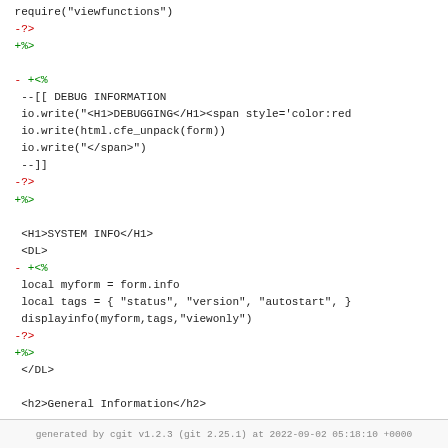require("viewfunctions")
-?>
+%>

-<?
+<%
 --[[ DEBUG INFORMATION
 io.write("<H1>DEBUGGING</H1><span style='color:red
 io.write(html.cfe_unpack(form))
 io.write("</span>")
 --]]
-?>
+%>

 <H1>SYSTEM INFO</H1>
 <DL>
-<?
+<%
 local myform = form.info
 local tags = { "status", "version", "autostart", }
 displayinfo(myform,tags,"viewonly")
-?>
+%>
 </DL>

 <h2>General Information</h2>
generated by cgit v1.2.3 (git 2.25.1) at 2022-09-02 05:18:10 +0000